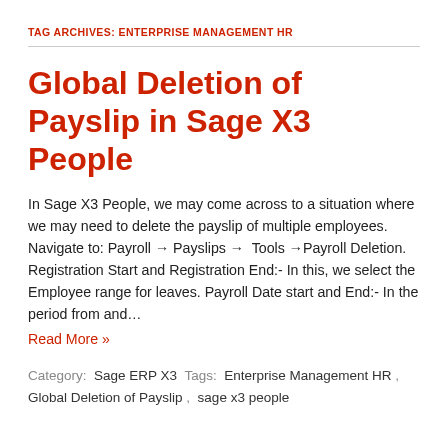TAG ARCHIVES: ENTERPRISE MANAGEMENT HR
Global Deletion of Payslip in Sage X3 People
In Sage X3 People, we may come across to a situation where we may need to delete the payslip of multiple employees. Navigate to: Payroll → Payslips → Tools →Payroll Deletion. Registration Start and Registration End:- In this, we select the Employee range for leaves. Payroll Date start and End:- In the period from and…
Read More »
Category:  Sage ERP X3  Tags:  Enterprise Management HR ,  Global Deletion of Payslip ,  sage x3 people